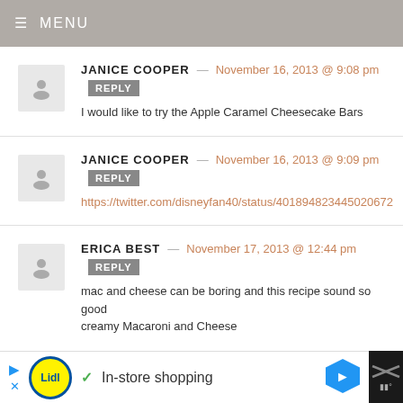MENU
JANICE COOPER — November 16, 2013 @ 9:08 pm REPLY
I would like to try the Apple Caramel Cheesecake Bars
JANICE COOPER — November 16, 2013 @ 9:09 pm REPLY
https://twitter.com/disneyfan40/status/401894823445020672
ERICA BEST — November 17, 2013 @ 12:44 pm REPLY
mac and cheese can be boring and this recipe sound so good creamy Macaroni and Cheese